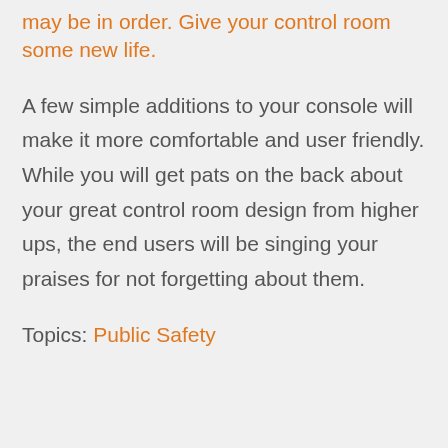may be in order. Give your control room some new life.
A few simple additions to your console will make it more comfortable and user friendly. While you will get pats on the back about your great control room design from higher ups, the end users will be singing your praises for not forgetting about them.
Topics: Public Safety